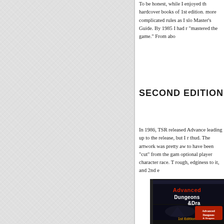[Figure (other): Left panel with light grey textured/linen background occupying the left side of the page]
To be honest, while I enjoyed th hardcover books of 1st edition. more complicated rules as I slo Master's Guide. By 1985 I had r "mastered the game." From abo
SECOND EDITION
In 1986, TSR released Advance leading up to the release, but I r thud. The artwork was pretty aw to have been "cut" from the gam optional player character race. T rough, edginess to it, and 2nd e
[Figure (photo): Advanced Dungeons & Dragons 1st Edition book cover showing the title in red and blue lettering on a dark background]